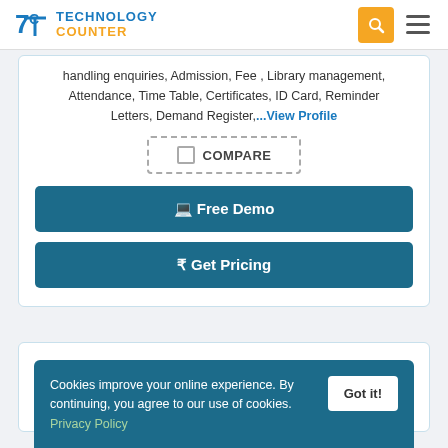Technology Counter
handling enquiries, Admission, Fee , Library management, Attendance, Time Table, Certificates, ID Card, Reminder Letters, Demand Register,...View Profile
COMPARE
Free Demo
₹ Get Pricing
Cookies improve your online experience. By continuing, you agree to our use of cookies. Privacy Policy